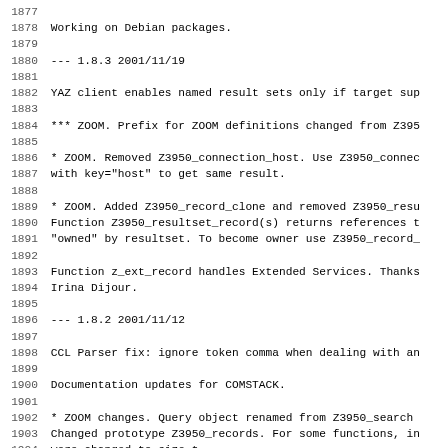1877
1878 Working on Debian packages.
1879
1880 --- 1.8.3 2001/11/19
1881
1882 YAZ client enables named result sets only if target sup
1883
1884 *** ZOOM. Prefix for ZOOM definitions changed from Z395
1885
1886 * ZOOM. Removed Z3950_connection_host. Use Z3950_connec
1887 with key="host" to get same result.
1888
1889 * ZOOM. Added Z3950_record_clone and removed Z3950_resu
1890 Function Z3950_resultset_record(s) returns references t
1891 "owned" by resultset. To become owner use Z3950_record_
1892
1893 Function z_ext_record handles Extended Services. Thanks
1894 Irina Dijour.
1895
1896 --- 1.8.2 2001/11/12
1897
1898 CCL Parser fix: ignore token comma when dealing with an
1899
1900 Documentation updates for COMSTACK.
1901
1902 * ZOOM changes. Query object renamed from Z3950_search
1903 Changed prototype Z3950_records. For some functions, in
1904 were changed to size_t.
1905
1906 TCP/IP COMSTACK no longer uses getprotobyname to avoid
1907 on some Unices.
1908